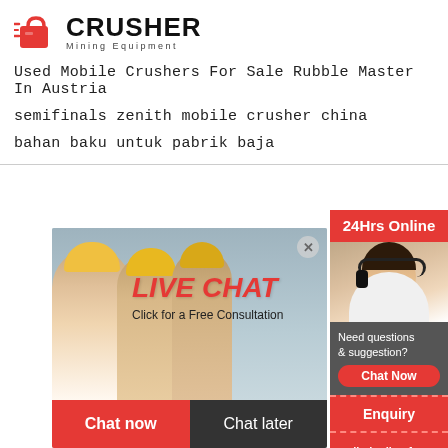[Figure (logo): Crusher Mining Equipment logo with red shopping bag icon and bold text]
Used Mobile Crushers For Sale Rubble Master In Austria
semifinals zenith mobile crusher china
bahan baku untuk pabrik baja
[Figure (screenshot): Live chat widget with workers in hard hats, LIVE CHAT title in red italic, 'Click for a Free Consultation' subtitle, Chat now and Chat later buttons, and a female agent with headset on the right with 24Hrs Online badge, Need questions & suggestion panel, Enquiry section, and limingjlmofen@sina.com contact]